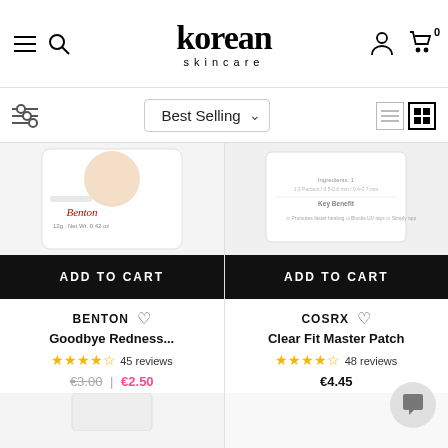korean skincare
Best Selling
[Figure (screenshot): Product image for Benton Goodbye Redness — white packaging with Benton branding]
ADD TO CART
BENTON
Goodbye Redness...
4.5 stars · 45 reviews
€3.00 | €2.50
[Figure (screenshot): Product image for COSRX Clear Fit Master Patch — white rectangular packaging]
ADD TO CART
COSRX
Clear Fit Master Patch
4.5 stars · 48 reviews
€4.45